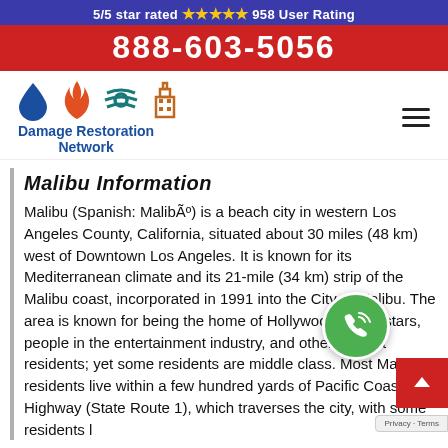5/5 star rated ⭐⭐⭐⭐⭐ 958 User Rating
888-603-5056
[Figure (logo): Damage Restoration Network logo with water drop, flame, hurricane, and building icons]
Malibu Information
Malibu (Spanish: MalibÃº) is a beach city in western Los Angeles County, California, situated about 30 miles (48 km) west of Downtown Los Angeles. It is known for its Mediterranean climate and its 21-mile (34 km) strip of the Malibu coast, incorporated in 1991 into the City of Malibu. The area is known for being the home of Hollywood movie stars, people in the entertainment industry, and other affluent residents; yet some residents are middle class. Most Malibu residents live within a few hundred yards of Pacific Coast Highway (State Route 1), which traverses the city, with some residents l